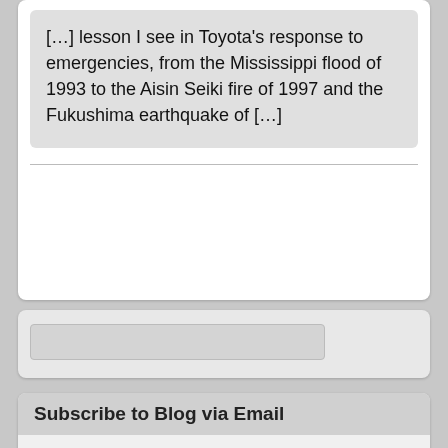[…] lesson I see in Toyota's response to emergencies, from the Mississippi flood of 1993 to the Aisin Seiki fire of 1997 and the Fukushima earthquake of […]
Subscribe to Blog via Email
Enter your email address to subscribe to this blog and receive notifications of new posts by email.
Join 561 other subscribers